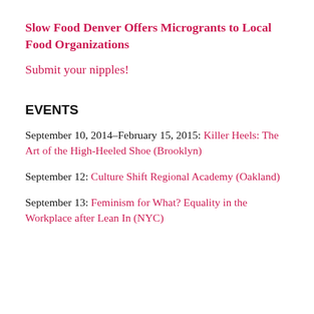Slow Food Denver Offers Microgrants to Local Food Organizations
Submit your nipples!
EVENTS
September 10, 2014–February 15, 2015: Killer Heels: The Art of the High-Heeled Shoe (Brooklyn)
September 12: Culture Shift Regional Academy (Oakland)
September 13: Feminism for What? Equality in the Workplace after Lean In (NYC)